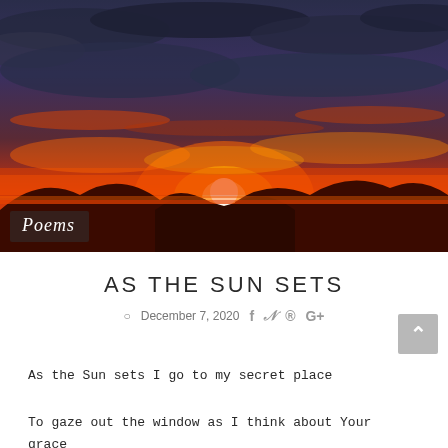[Figure (photo): Dramatic sunset photograph with deep blue-purple stormy clouds in the upper sky, a vivid red-orange horizon with the sun partially visible behind a mountain silhouette, and dark mountain ridgeline silhouettes in the foreground. A semi-transparent box in the lower-left corner reads 'Poems' in cursive white text.]
AS THE SUN SETS
December 7, 2020
As the Sun sets I go to my secret place
To gaze out the window as I think about Your grace